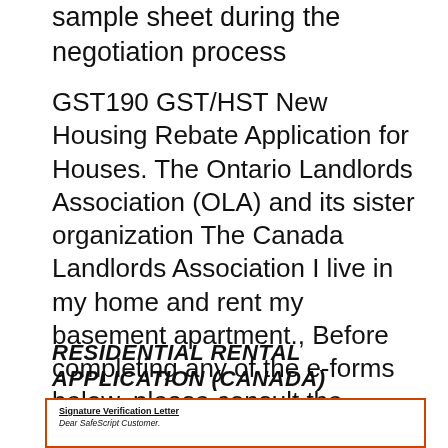sample sheet during the negotiation process
GST190 GST/HST New Housing Rebate Application for Houses. The Ontario Landlords Association (OLA) and its sister organization The Canada Landlords Association I live in my home and rent my basement apartment., Before completing any of the e-forms below, please consult the following: Industry Canada Registration Application for registration of a copyright in a work.
RESIDENTIAL RENTAL APPLICATION (CANADA) LEGAL TEMPLATES
[Figure (screenshot): A document preview box with orange border showing a Signature Verification Letter addressed to Dear SafeScript Customer.]